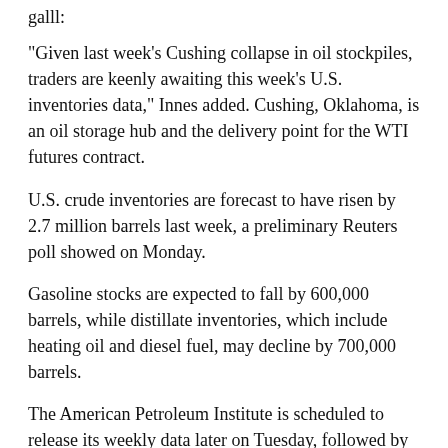"Given last week's Cushing collapse in oil stockpiles, traders are keenly awaiting this week's U.S. inventories data," Innes added. Cushing, Oklahoma, is an oil storage hub and the delivery point for the WTI futures contract.
U.S. crude inventories are forecast to have risen by 2.7 million barrels last week, a preliminary Reuters poll showed on Monday.
Gasoline stocks are expected to fall by 600,000 barrels, while distillate inventories, which include heating oil and diesel fuel, may decline by 700,000 barrels.
The American Petroleum Institute is scheduled to release its weekly data later on Tuesday, followed by the EIA on Wednesday.
-----
Earlier: